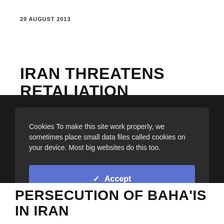29 AUGUST 2013
IRAN THREATENS RETALIATION
Cookies To make this site work properly, we sometimes place small data files called cookies on your device. Most big websites do this too.
✓ Accept
Read more →
Cookies Settings ⚙
PERSECUTION OF BAHA'IS IN IRAN